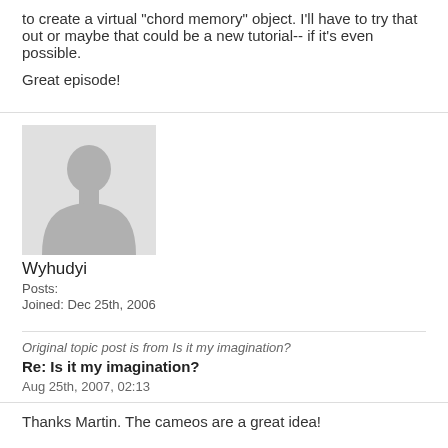to create a virtual "chord memory" object. I'll have to try that out or maybe that could be a new tutorial-- if it's even possible.

Great episode!
[Figure (illustration): Generic gray silhouette avatar placeholder image of a person]
Wyhudyi
Posts:
Joined: Dec 25th, 2006
Original topic post is from Is it my imagination?
Re: Is it my imagination?
Aug 25th, 2007, 02:13
Thanks Martin. The cameos are a great idea!

If you have a spare moment, please include some more tips on mixing. I'd like to see how you go about creating a finished track.